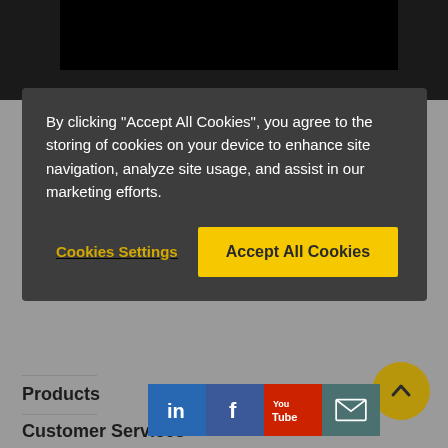[Figure (screenshot): Dark background area representing a website background behind a cookie consent modal]
By clicking "Accept All Cookies", you agree to the storing of cookies on your device to enhance site navigation, analyze site usage, and assist in our marketing efforts.
Cookies Settings
Accept All Cookies
Products
Customer Services